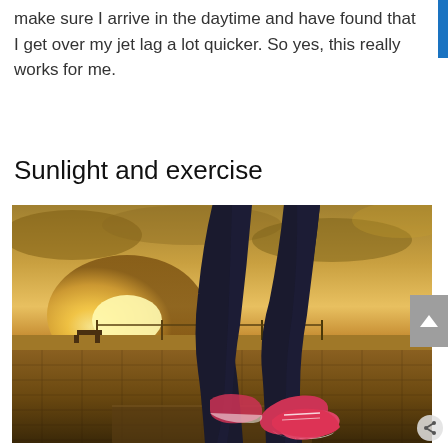make sure I arrive in the daytime and have found that I get over my jet lag a lot quicker. So yes, this really works for me.
Sunlight and exercise
[Figure (photo): Close-up photo of a person's legs wearing dark jeans and pink running shoes, walking on a cobblestone path with a golden sunset and waterfront in the background.]